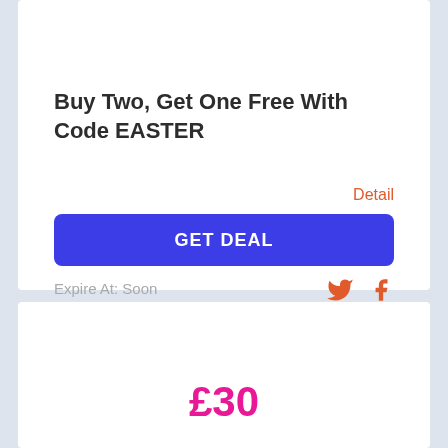Buy Two, Get One Free With Code EASTER
Detail
GET DEAL
Expire At: Soon
63
6
£30